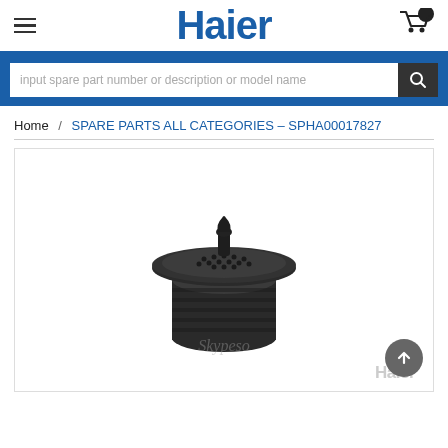Haier
input spare part number or description or model name
Home / SPARE PARTS ALL CATEGORIES – SPHA00017827
[Figure (photo): A small black cylindrical spare part with a perforated top and a small nozzle/valve, shown on a white background. Haier watermark visible. This is part SPHA00017827.]